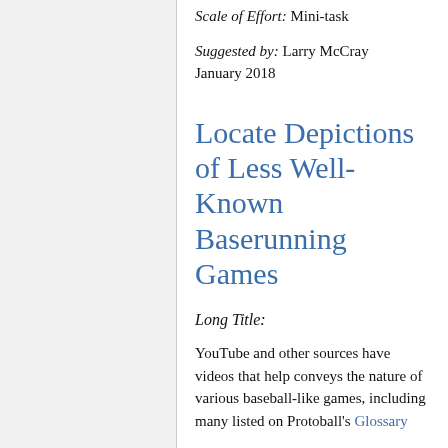Scale of Effort: Mini-task
Suggested by: Larry McCray January 2018
Locate Depictions of Less Well-Known Baserunning Games
Long Title:
YouTube and other sources have videos that help conveys the nature of various baseball-like games, including many listed on Protoball's Glossary